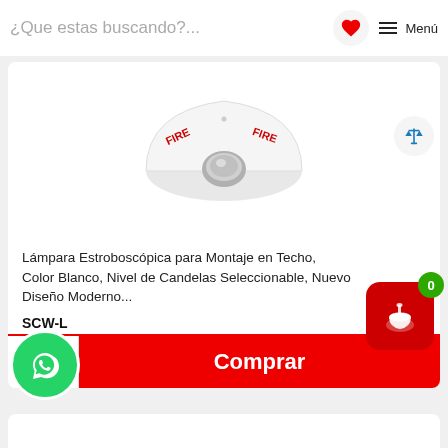¿Que estas buscando?...  Menú
[Figure (photo): White dome-shaped FIRE strobe lamp for ceiling mounting, with reflective chrome center element, white housing with red FIRE text on sides.]
Lámpara Estroboscópica para Montaje en Techo, Color Blanco, Nivel de Candelas Seleccionable, Nuevo Diseño Moderno...
SCW-L
SYSTEM SENSOR
117 en stock
$1,013  $1,009  IVA Incluido
1  Comprar